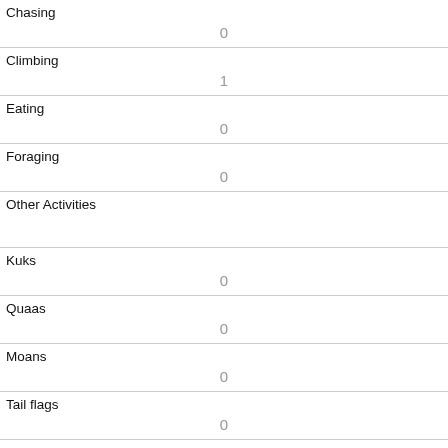| Activity | Count |
| --- | --- |
| Chasing | 0 |
| Climbing | 1 |
| Eating | 0 |
| Foraging | 0 |
| Other Activities |  |
| Kuks | 0 |
| Quaas | 0 |
| Moans | 0 |
| Tail flags | 0 |
| Tail twitches | 0 |
| Approaches |  |